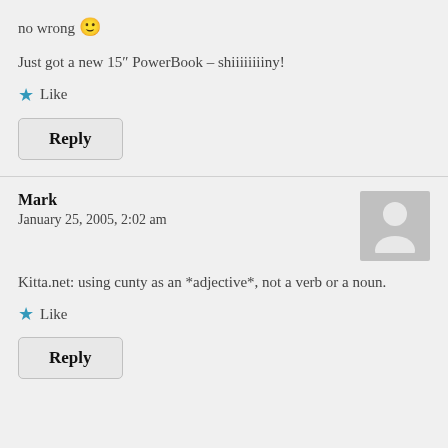no wrong 🙂
Just got a new 15″ PowerBook – shiiiiiiiiny!
★ Like
Reply
Mark
January 25, 2005, 2:02 am
Kitta.net: using cunty as an *adjective*, not a verb or a noun.
★ Like
Reply